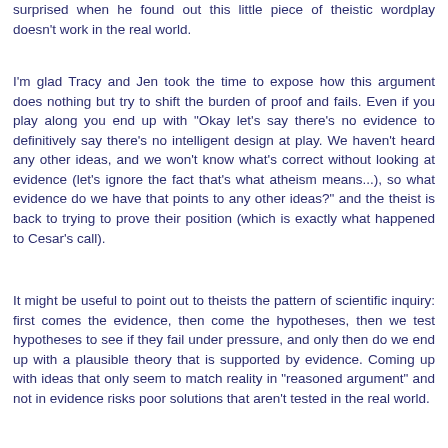surprised when he found out this little piece of theistic wordplay doesn't work in the real world.
I'm glad Tracy and Jen took the time to expose how this argument does nothing but try to shift the burden of proof and fails. Even if you play along you end up with "Okay let's say there's no evidence to definitively say there's no intelligent design at play. We haven't heard any other ideas, and we won't know what's correct without looking at evidence (let's ignore the fact that's what atheism means...), so what evidence do we have that points to any other ideas?" and the theist is back to trying to prove their position (which is exactly what happened to Cesar's call).
It might be useful to point out to theists the pattern of scientific inquiry: first comes the evidence, then come the hypotheses, then we test hypotheses to see if they fail under pressure, and only then do we end up with a plausible theory that is supported by evidence. Coming up with ideas that only seem to match reality in "reasoned argument" and not in evidence risks poor solutions that aren't tested in the real world.